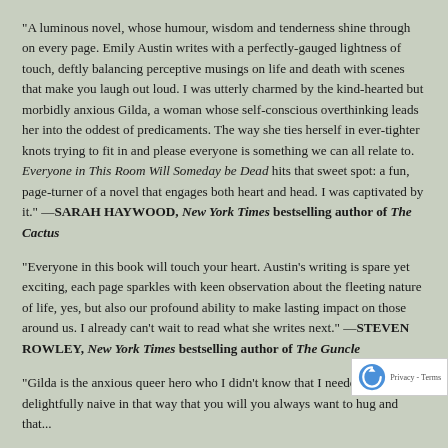"A luminous novel, whose humour, wisdom and tenderness shine through on every page. Emily Austin writes with a perfectly-gauged lightness of touch, deftly balancing perceptive musings on life and death with scenes that make you laugh out loud. I was utterly charmed by the kind-hearted but morbidly anxious Gilda, a woman whose self-conscious overthinking leads her into the oddest of predicaments. The way she ties herself in ever-tighter knots trying to fit in and please everyone is something we can all relate to. Everyone in This Room Will Someday be Dead hits that sweet spot: a fun, page-turner of a novel that engages both heart and head. I was captivated by it." —SARAH HAYWOOD, New York Times bestselling author of The Cactus
"Everyone in this book will touch your heart. Austin's writing is spare yet exciting, each page sparkles with keen observation about the fleeting nature of life, yes, but also our profound ability to make lasting impact on those around us. I already can't wait to read what she writes next." —STEVEN ROWLEY, New York Times bestselling author of The Guncle
"Gilda is the anxious queer hero who I didn't know that I needed, delightfully naive in that way that you will you always want to hug and that...